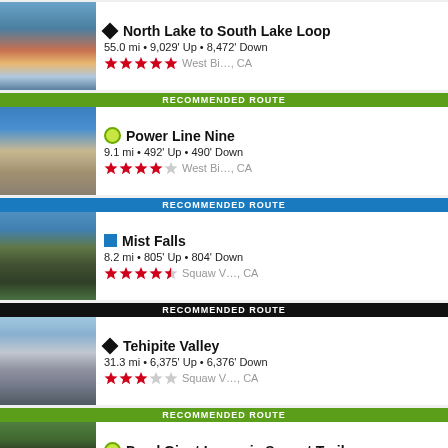North Lake to South Lake Loop | 55.0 mi · 9,029' Up · 8,472' Down | ★★★★★ West Bi…, CA
RECOMMENDED ROUTE | Power Line Nine | 9.1 mi · 492' Up · 490' Down | ★★★★☆ West Bi…, CA
RECOMMENDED ROUTE | Mist Falls | 8.2 mi · 805' Up · 804' Down | ★★★★½ Squaw V…, CA
RECOMMENDED ROUTE | Tehipite Valley | 31.3 mi · 6,375' Up · 6,376' Down | ★★★☆☆ Squaw V…, CA
RECOMMENDED ROUTE | Dead Giant Loop via Sunset Trail | 1.8 mi · 315' Up · 312' Down | ★★★★½ Squaw V…, CA
RECOMMENDED ROUTE (partial)